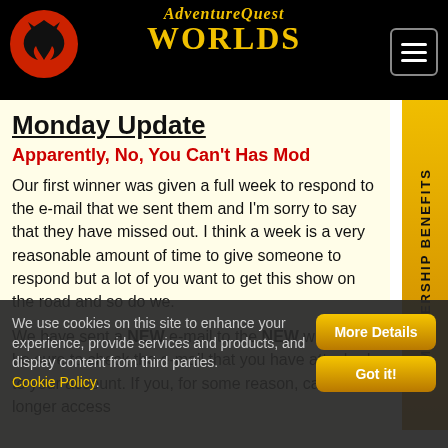AdventureQuest Worlds (website header)
Monday Update
Apparently, No, You Can't Has Mod
Our first winner was given a full week to respond to the e-mail that we sent them and I'm sorry to say that they have missed out. I think a week is a very reasonable amount of time to give someone to respond but a lot of you want to get this show on the road and so do we.
We have sent a NEW e-mail to the NEW winner, so be sure to check the e-mail that you have attached to your account. If you, for some reason, can no longer access
We use cookies on this site to enhance your experience, provide services and products, and display content from third parties. Cookie Policy.